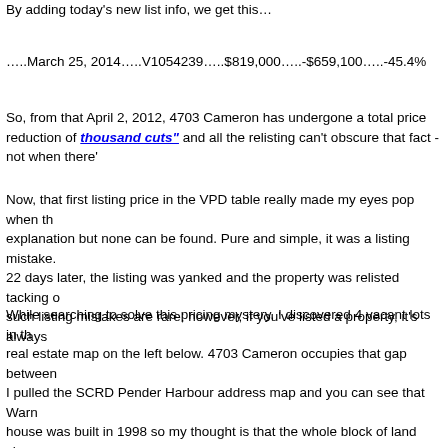By adding today's new list info, we get this…
…..March 25, 2014…..V1054239…..$819,000…..-$659,100…..-45.4%
So, from that April 2, 2012, 4703 Cameron has undergone a total price reduction of "death by a thousand cuts" and all the relisting can't obscure that fact - not when there's a VPD table.
Now, that first listing price in the VPD table really made my eyes pop when the data came in. I searched for an explanation but none can be found. Pure and simple, it was a listing mistake. And sure enough, 22 days later, the listing was yanked and the property was relisted tacking on an extra $300,000. Fortunately, such listing mistakes are rare; however, if you've listed a property, it's always worth checking.
While searching to solve this pricing mystery, I discovered 4 vacant lots in the immediate vicinity on the real estate map on the left below. 4703 Cameron occupies that gap between the lots on the SCRD map. I pulled the SCRD Pender Harbour address map and you can see that Warner Road is just west and the house was built in 1998 so my thought is that the whole block of land shown in the SCRD map whose address is Cameron Rd. About a decade later, the owner decided to subdivide and 4703 Cameron now occupies SL 3. I don't know if the current home owner was the owner back then.
So, here are those vacant lot listings and for Lot 2 Arbutus Landing Rd and Lot 4 there are expired listings too, and possibly the same for SL 5 and SL 6 (I didn't search - why bother).
Lot 2 was listed July 14, 2011 at $649,900 so the total price reduction to date is...
Lot 4 was listed May 25, 2013 at $469,000 so the total price reduction to date...
I came across an old Royal LePage agent ad from June, 2010 and in it the agent was selling lots on Arbutus Landing Road. So, the current listings for Lot 2 and Lot 4 are flips. In 2010, the market had been down for 2 years; so, it's possible these lots were bought as investments. If so, it's too bad for them. But from that ad...